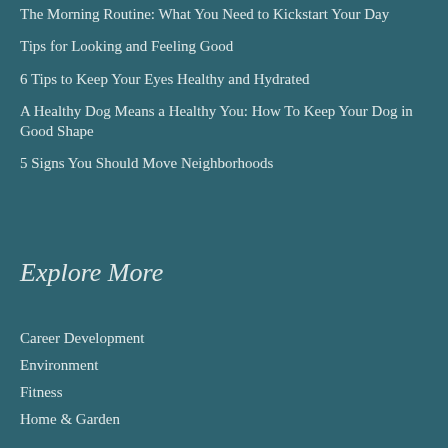The Morning Routine: What You Need to Kickstart Your Day
Tips for Looking and Feeling Good
6 Tips to Keep Your Eyes Healthy and Hydrated
A Healthy Dog Means a Healthy You: How To Keep Your Dog in Good Shape
5 Signs You Should Move Neighborhoods
Explore More
Career Development
Environment
Fitness
Home & Garden